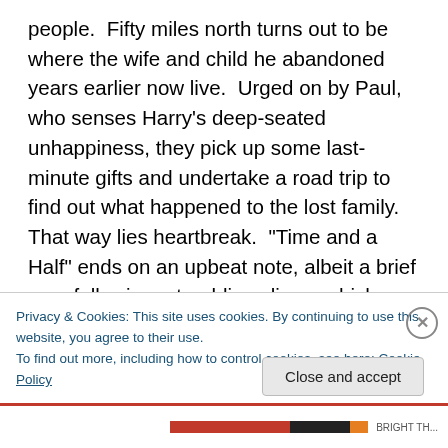people.  Fifty miles north turns out to be where the wife and child he abandoned years earlier now live.  Urged on by Paul, who senses Harry's deep-seated unhappiness, they pick up some last-minute gifts and undertake a road trip to find out what happened to the lost family.  That way lies heartbreak.  "Time and a Half" ends on an upbeat note, albeit a brief one, following a troubling climax which suggests, through a sharp metaphor, that suicide may lie in Harry's future.  A. Martin Zweiback's teleplay (from a story by Daniel L. Aubry) is full of wry details and smart dialogue.  Bryan learns of the airplane's distress before
Privacy & Cookies: This site uses cookies. By continuing to use this website, you agree to their use.
To find out more, including how to control cookies, see here: Cookie Policy
Close and accept